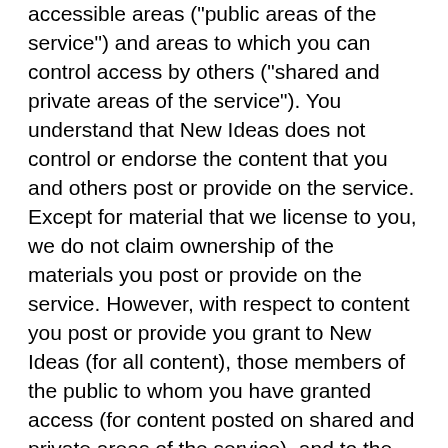accessible areas ("public areas of the service") and areas to which you can control access by others ("shared and private areas of the service"). You understand that New Ideas does not control or endorse the content that you and others post or provide on the service. Except for material that we license to you, we do not claim ownership of the materials you post or provide on the service. However, with respect to content you post or provide you grant to New Ideas (for all content), those members of the public to whom you have granted access (for content posted on shared and private areas of the service), and to the public (for content posted on public areas of the service)